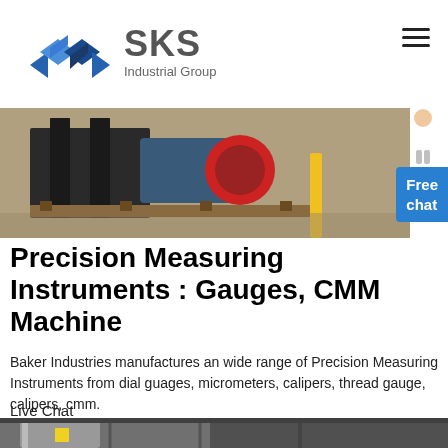[Figure (logo): SKS Industrial Group logo with blue diamond S graphic and gray SKS text]
[Figure (photo): Industrial machinery on a warehouse floor, motor and equipment on metal frame]
Precision Measuring Instruments : Gauges, CMM Machine
Baker Industries manufactures an wide range of Precision Measuring Instruments from dial guages, micrometers, calipers, thread gauge, calipers, cmm.
Live Chat
[Figure (photo): Industrial facility interior showing large cylindrical tanks and metal structures]